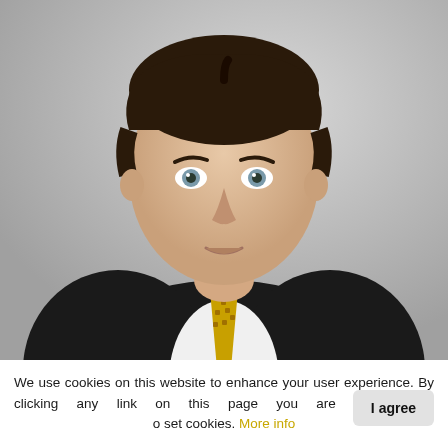[Figure (photo): Professional headshot of a middle-aged man with dark hair, blue eyes, wearing a dark suit, white shirt, and a yellow/gold patterned tie, photographed against a grey gradient background.]
We use cookies on this website to enhance your user experience. By clicking any link on this page you are giving your consent to set cookies. More info